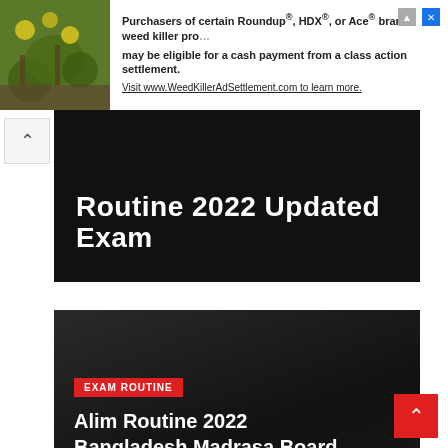[Figure (screenshot): Advertisement banner: image of plants on left, text about Roundup/HDX/Ace weed killer class action settlement with link to WeedKillerAdSettlement.com]
[Figure (screenshot): Partially visible dark card showing title text 'Routine 2022 Updated Exam' in white bold font on black background]
[Figure (screenshot): Dark card with red 'EXAM ROUTINE' label tag and white bold title: 'Alim Routine 2022 Bangladesh Madrasa Board']
Alim Routine 2022 Bangladesh Madrasa Board